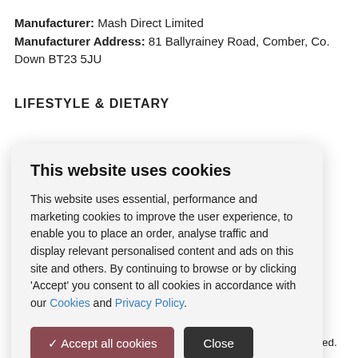Manufacturer: Mash Direct Limited
Manufacturer Address: 81 Ballyrainey Road, Comber, Co. Down BT23 5JU
LIFESTYLE & DIETARY
This website uses cookies
This website uses essential, performance and marketing cookies to improve the user experience, to enable you to place an order, analyse traffic and display relevant personalised content and ads on this site and others. By continuing to browse or by clicking ‘Accept’ you consent to all cookies in accordance with our Cookies and Privacy Policy.
ctions - General. g appliances may led. 750W or d several times.
microwave for 6 minutes. Stir and Serve. Oven cook - From Chilled.